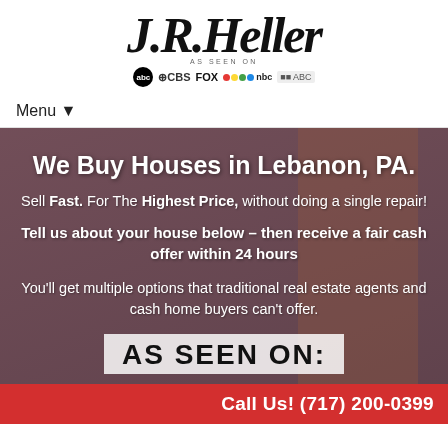[Figure (logo): J.R. Heller cursive script logo with 'AS SEEN ON' and network logos (ABC, CBS, FOX, NBC)]
Menu ▼
We Buy Houses in Lebanon, PA.
Sell Fast. For The Highest Price, without doing a single repair!
Tell us about your house below – then receive a fair cash offer within 24 hours
You'll get multiple options that traditional real estate agents and cash home buyers can't offer.
AS SEEN ON:
Call Us! (717) 200-0399